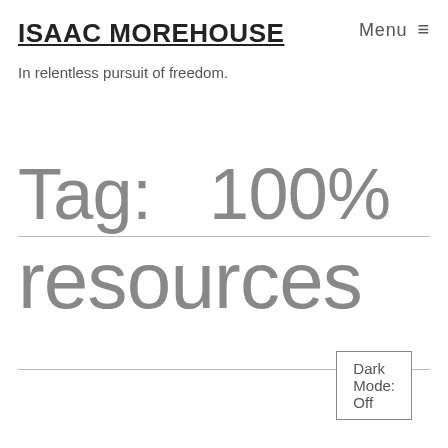ISAAC MOREHOUSE
Menu ≡
In relentless pursuit of freedom.
Tag:   100%
resources
Dark Mode: Off